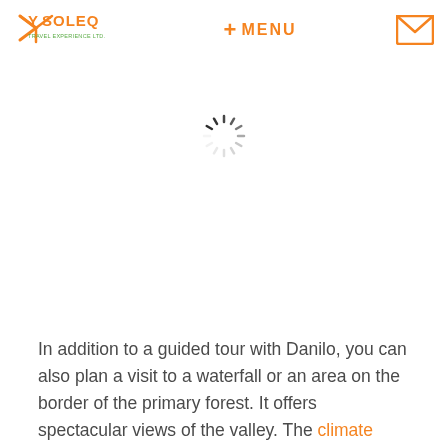YSOLEQ + MENU [envelope icon]
[Figure (other): Spinning loading indicator (circular spinner with radiating tick marks)]
In addition to a guided tour with Danilo, you can also plan a visit to a waterfall or an area on the border of the primary forest. It offers spectacular views of the valley. The climate